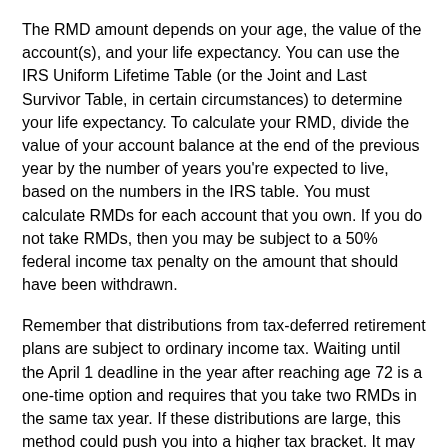The RMD amount depends on your age, the value of the account(s), and your life expectancy. You can use the IRS Uniform Lifetime Table (or the Joint and Last Survivor Table, in certain circumstances) to determine your life expectancy. To calculate your RMD, divide the value of your account balance at the end of the previous year by the number of years you're expected to live, based on the numbers in the IRS table. You must calculate RMDs for each account that you own. If you do not take RMDs, then you may be subject to a 50% federal income tax penalty on the amount that should have been withdrawn.
Remember that distributions from tax-deferred retirement plans are subject to ordinary income tax. Waiting until the April 1 deadline in the year after reaching age 72 is a one-time option and requires that you take two RMDs in the same tax year. If these distributions are large, this method could push you into a higher tax bracket. It may be wise to plan ahead for RMDs to determine the best time to begin taking them.